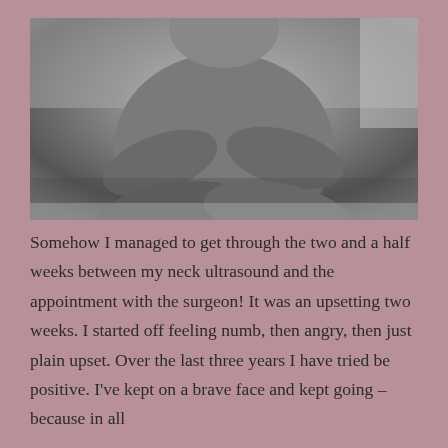[Figure (photo): Black and white photograph of a person sitting cross-legged, torso visible, arms crossed over midsection, seated on what appears to be a bed or surface.]
Somehow I managed to get through the two and a half weeks between my neck ultrasound and the appointment with the surgeon! It was an upsetting two weeks. I started off feeling numb, then angry, then just plain upset. Over the last three years I have tried be positive. I've kept on a brave face and kept going – because in all